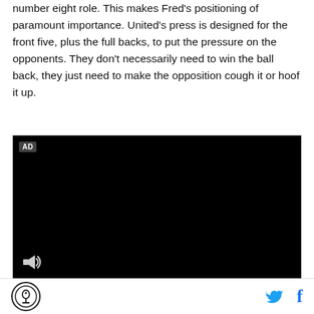number eight role. This makes Fred's positioning of paramount importance. United's press is designed for the front five, plus the full backs, to put the pressure on the opponents. They don't necessarily need to win the ball back, they just need to make the opposition cough it or hoof it up.
[Figure (other): Black video ad player with AD badge in top-left corner and speaker/volume icon in bottom-left]
SB Nation logo | Twitter icon | Facebook icon